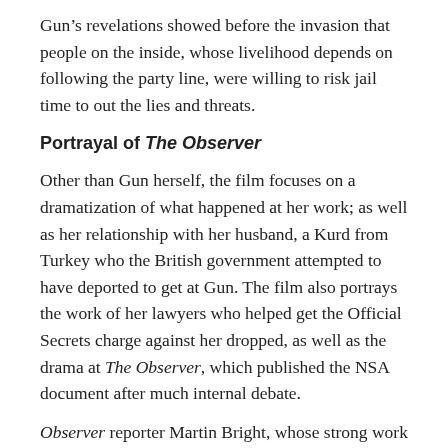Gun’s revelations showed before the invasion that people on the inside, whose livelihood depends on following the party line, were willing to risk jail time to out the lies and threats.
Portrayal of The Observer
Other than Gun herself, the film focuses on a dramatization of what happened at her work; as well as her relationship with her husband, a Kurd from Turkey who the British government attempted to have deported to get at Gun. The film also portrays the work of her lawyers who helped get the Official Secrets charge against her dropped, as well as the drama at The Observer, which published the NSA document after much internal debate.
Observer reporter Martin Bright, whose strong work on the original Gun story was strangely followed by an ill-fated stint at the Tony Blair Faith Foundation, has recently noted that very little additional work has been done on Gun’s case. We know virtually nothing about the apparent author of the NSA document that leaked—from a Foreign Office? Other agencies...